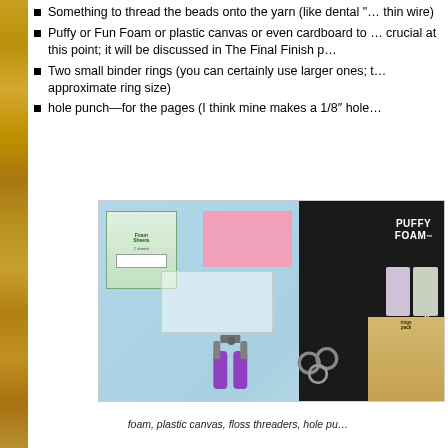Something to thread the beads onto the yarn (like dental “... thin wire)
Puffy or Fun Foam or plastic canvas or even cardboard to ... crucial at this point; it will be discussed in The Final Finish p...
Two small binder rings (you can certainly use larger ones; t... approximate ring size)
hole punch—for the pages (I think mine makes a 1/8″ hole...
[Figure (photo): Photo showing crafting supplies: Puffy Foam (Sulky brand) product packaging in black, a pink foam sheet, a blue background, plastic canvas grid, a small foam sheet package, needle-nose pliers with purple handles, binder rings, and a small package of rings/hardware.]
foam, plastic canvas, floss threaders, hole pu...